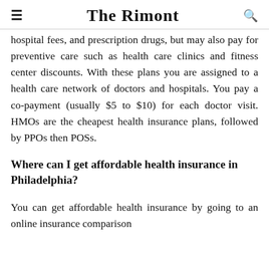The Rimont
hospital fees, and prescription drugs, but may also pay for preventive care such as health care clinics and fitness center discounts. With these plans you are assigned to a health care network of doctors and hospitals. You pay a co-payment (usually $5 to $10) for each doctor visit. HMOs are the cheapest health insurance plans, followed by PPOs then POSs.
Where can I get affordable health insurance in Philadelphia?
You can get affordable health insurance by going to an online insurance comparison